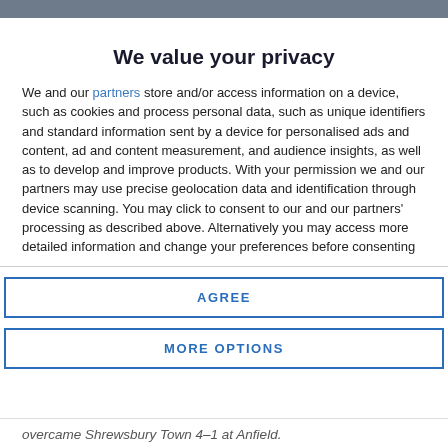We value your privacy
We and our partners store and/or access information on a device, such as cookies and process personal data, such as unique identifiers and standard information sent by a device for personalised ads and content, ad and content measurement, and audience insights, as well as to develop and improve products. With your permission we and our partners may use precise geolocation data and identification through device scanning. You may click to consent to our and our partners' processing as described above. Alternatively you may access more detailed information and change your preferences before consenting
AGREE
MORE OPTIONS
overcame Shrewsbury Town 4–1 at Anfield.